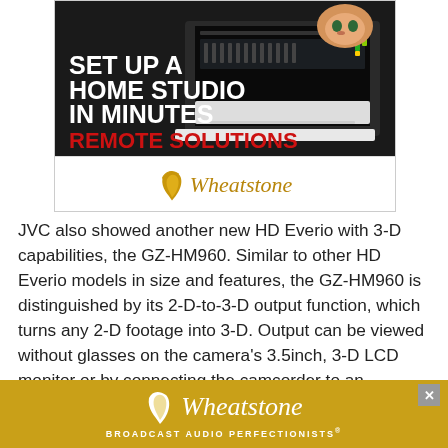[Figure (illustration): Wheatstone advertisement banner showing a laptop with audio mixing software, a cat in the top right corner, overlaid text 'SET UP A HOME STUDIO IN MINUTES REMOTE SOLUTIONS' and the Wheatstone logo with a leaf icon]
JVC also showed another new HD Everio with 3-D capabilities, the GZ-HM960. Similar to other HD Everio models in size and features, the GZ-HM960 is distinguished by its 2-D-to-3-D output function, which turns any 2-D footage into 3-D. Output can be viewed without glasses on the camera's 3.5inch, 3-D LCD monitor or by connecting the camcorder to an
[Figure (illustration): Wheatstone bottom banner advertisement with golden/amber background, Wheatstone leaf logo and italic text, tagline 'BROADCAST AUDIO PERFECTIONISTS' with close button X]